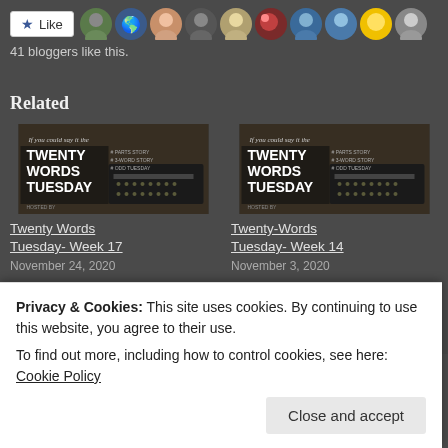[Figure (screenshot): Like button and blogger avatar strip. 41 bloggers like this.]
41 bloggers like this.
Related
[Figure (photo): Twenty Words Tuesday blog post thumbnail - typewriter image with text overlay]
Twenty Words Tuesday- Week 17
November 24, 2020
[Figure (photo): Twenty Words Tuesday blog post thumbnail - typewriter image with text overlay]
Twenty-Words Tuesday- Week 14
November 3, 2020
Privacy & Cookies: This site uses cookies. By continuing to use this website, you agree to their use.
To find out more, including how to control cookies, see here: Cookie Policy